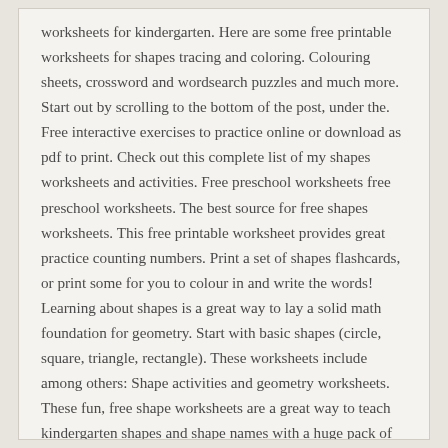worksheets for kindergarten. Here are some free printable worksheets for shapes tracing and coloring. Colouring sheets, crossword and wordsearch puzzles and much more. Start out by scrolling to the bottom of the post, under the. Free interactive exercises to practice online or download as pdf to print. Check out this complete list of my shapes worksheets and activities. Free preschool worksheets free preschool worksheets. The best source for free shapes worksheets. This free printable worksheet provides great practice counting numbers. Print a set of shapes flashcards, or print some for you to colour in and write the words! Learning about shapes is a great way to lay a solid math foundation for geometry. Start with basic shapes (circle, square, triangle, rectangle). These worksheets include among others: Shape activities and geometry worksheets. These fun, free shape worksheets are a great way to teach kindergarten shapes and shape names with a huge pack of free kindergarten worksheets. Shapes worksheets and